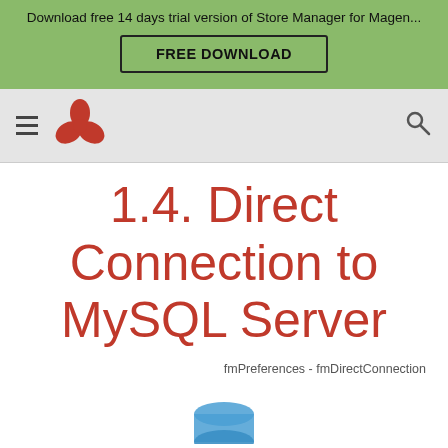Download free 14 days trial version of Store Manager for Magen...
FREE DOWNLOAD
[Figure (logo): Red three-petal flower logo icon]
1.4. Direct Connection to MySQL Server
fmPreferences - fmDirectConnection